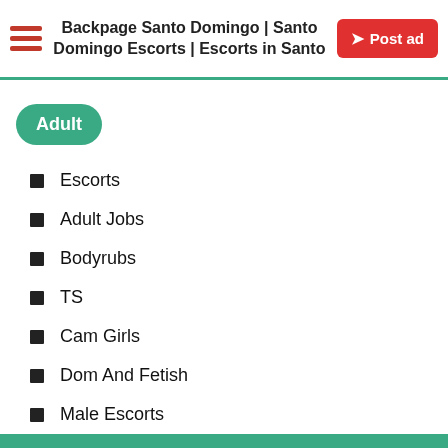Backpage Santo Domingo | Santo Domingo Escorts | Escorts in Santo
Adult
Escorts
Adult Jobs
Bodyrubs
TS
Cam Girls
Dom And Fetish
Male Escorts
Phone & Websites
Strippers And Strip Clubs